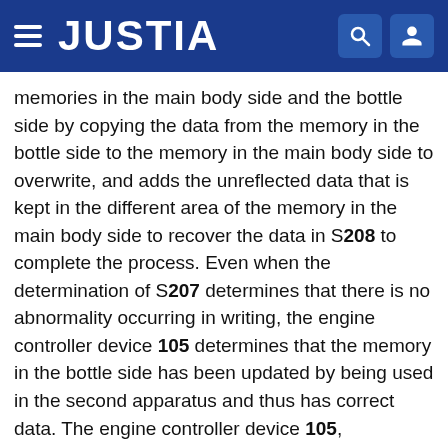JUSTIA
memories in the main body side and the bottle side by copying the data from the memory in the bottle side to the memory in the main body side to overwrite, and adds the unreflected data that is kept in the different area of the memory in the main body side to recover the data in S208 to complete the process. Even when the determination of S207 determines that there is no abnormality occurring in writing, the engine controller device 105 determines that the memory in the bottle side has been updated by being used in the second apparatus and thus has correct data. The engine controller device 105, accordingly, performs the data synchronization between the memories in the main body side and the bottle side by copying the data from the memory in the bottle side to the memory in the main body side to overwrite in S209 and completes the process.